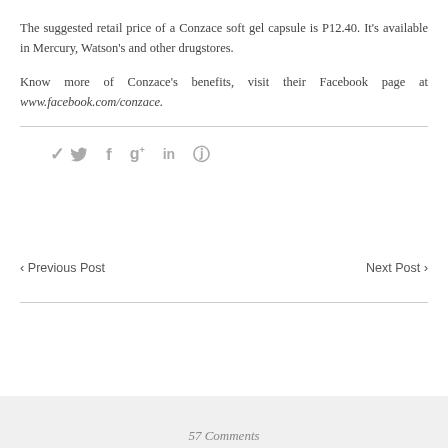The suggested retail price of a Conzace soft gel capsule is P12.40. It's available in Mercury, Watson's and other drugstores.
Know more of Conzace's benefits, visit their Facebook page at www.facebook.com/conzace.
[Figure (infographic): Social sharing icons: Twitter (bird), Facebook (f), Google+ (g+), LinkedIn (in), Pinterest (p)]
‹ Previous Post    Next Post ›
57 Comments